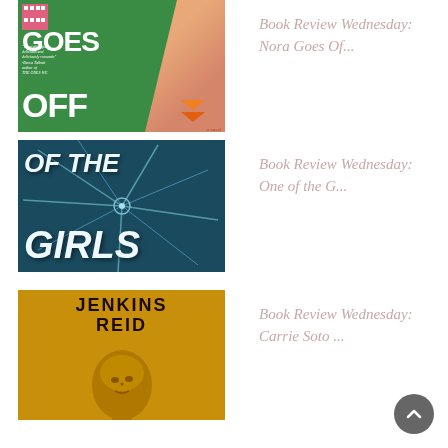[Figure (photo): Book cover for 'Nora Goes Off Script' - green background with white text GOES OFF]
Book Review Wednesday: Nora Goes Of...
[Figure (photo): Book cover for 'One of the Girls' - dark teal/blue with shattered glass and stylized text]
Book Review Wednesday: One of the G...
[Figure (photo): Book cover for Carrie Soto by Taylor Jenkins Reid - gold background with face looking up, text JENKINS REID]
Book Review Wednesday: Carrie Soto ...